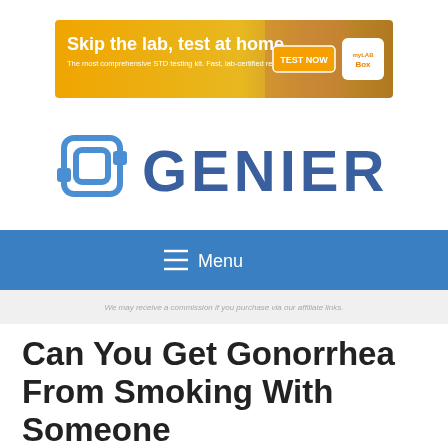[Figure (infographic): Advertisement banner: orange background with woman photo, text 'Skip the lab, test at home', 'The most comprehensive STD testing kit. Fast, lab-certified results.', a 'TEST NOW' button, and myLAB Box logo]
[Figure (logo): Genier website logo with blue square bracket icon and GENIER text in blue]
≡  Menu
We may receive a commission if you purchase via our affiliate links.
Can You Get Gonorrhea From Smoking With Someone